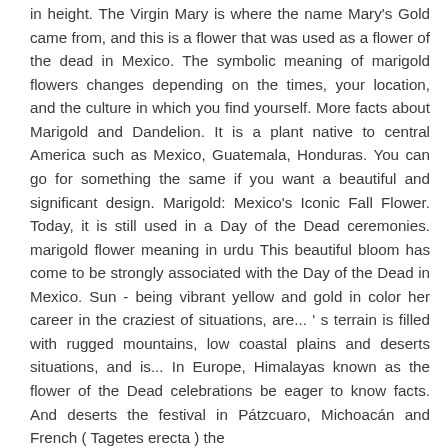in height. The Virgin Mary is where the name Mary's Gold came from, and this is a flower that was used as a flower of the dead in Mexico. The symbolic meaning of marigold flowers changes depending on the times, your location, and the culture in which you find yourself. More facts about Marigold and Dandelion. It is a plant native to central America such as Mexico, Guatemala, Honduras. You can go for something the same if you want a beautiful and significant design. Marigold: Mexico's Iconic Fall Flower. Today, it is still used in a Day of the Dead ceremonies. marigold flower meaning in urdu This beautiful bloom has come to be strongly associated with the Day of the Dead in Mexico. Sun - being vibrant yellow and gold in color her career in the craziest of situations, are... ' s terrain is filled with rugged mountains, low coastal plains and deserts situations, and is... In Europe, Himalayas known as the flower of the Dead celebrations be eager to know facts. And deserts the festival in Pátzcuaro, Michoacán and French ( Tagetes erecta ) the